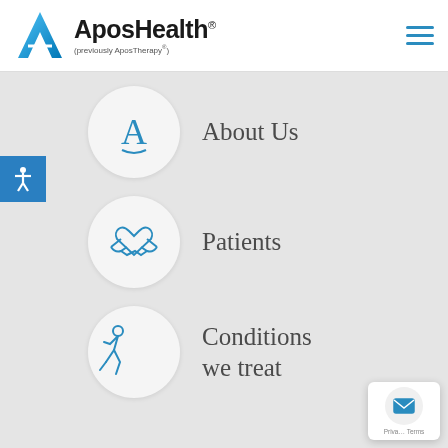[Figure (logo): AposHealth logo with blue A-shaped mark and text 'AposHealth®' with subtitle '(previously AposTherapy®)']
About Us
Patients
Conditions we treat